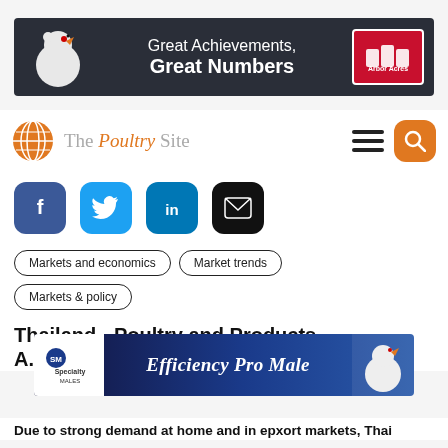[Figure (illustration): Banner advertisement for Arbor Acres: white chicken on dark background with text 'Great Achievements, Great Numbers' and red Arbor Acres logo box on right]
[Figure (logo): The Poultry Site navigation bar logo with orange circular globe icon and text 'The Poultry Site' with hamburger menu and orange search button]
[Figure (infographic): Social media sharing icons: Facebook (dark blue), Twitter (light blue), LinkedIn (teal blue), Email (black), all with rounded square shapes]
Markets and economics
Market trends
Markets & policy
Thailand - Poultry and Products A...
[Figure (illustration): Banner advertisement for Specialty Males: 'Efficiency Pro Male' text in italic white on blue gradient background with chicken image on right]
Due to strong demand at home and in epxort markets, Thai